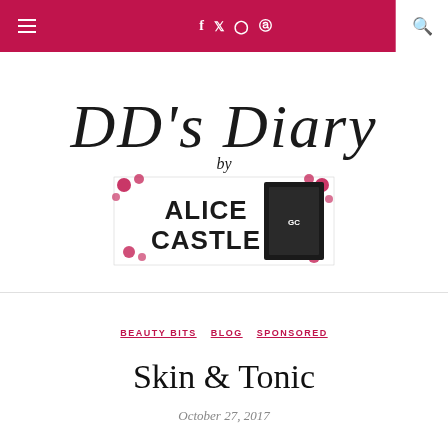Navigation bar with hamburger menu, social icons (f, twitter, instagram, pinterest), search icon
[Figure (logo): DD's Diary by Alice Castle logo - cursive script text 'DD's Diary' with a banner underneath reading 'Alice Castle' with decorative roses and product imagery]
BEAUTY BITS  BLOG  SPONSORED
Skin & Tonic
October 27, 2017